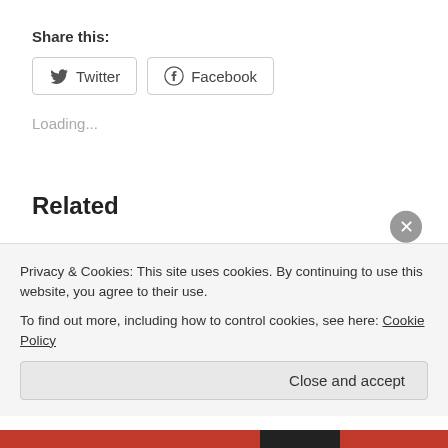Share this:
Twitter   Facebook
Loading...
Related
2025 – END GAME CHINA – WAR A CERTAINTY   PART
CHAOS DOCTRINE: INDIA'S BRAHMASTRA
Privacy & Cookies: This site uses cookies. By continuing to use this website, you agree to their use.
To find out more, including how to control cookies, see here: Cookie Policy
Close and accept